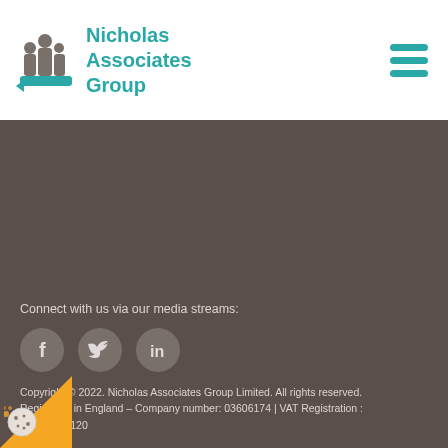Nicholas Associates Group
[Figure (logo): Nicholas Associates Group logo with people icon and teal text]
[Figure (other): Dark brown banner/image area]
Connect with us via our media streams:
[Figure (infographic): Social media icons: Facebook, Twitter, LinkedIn in grey circles]
Copyright © 2022. Nicholas Associates Group Limited. All rights reserved.
Registered in England – Company number: 03606174 | VAT Registration : GB727824120